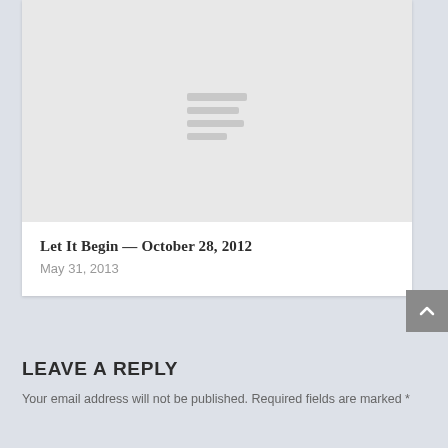[Figure (illustration): Placeholder image thumbnail with light gray background and four horizontal lines of varying width centered in the image area, suggesting a document or text placeholder icon]
Let It Begin — October 28, 2012
May 31, 2013
LEAVE A REPLY
Your email address will not be published. Required fields are marked *